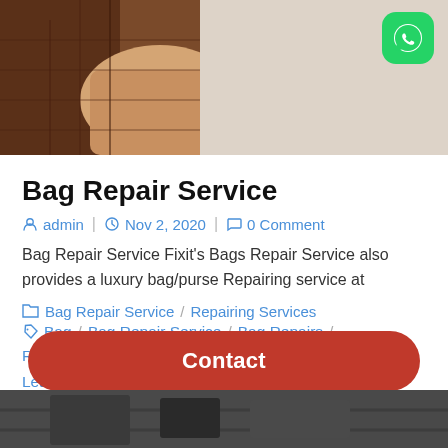[Figure (photo): Close-up photo of a brown leather bag/wallet being held, with a WhatsApp icon overlay in the top-right corner]
Bag Repair Service
admin  |  Nov 2, 2020  |  0 Comment
Bag Repair Service Fixit's Bags Repair Service also provides a luxury bag/purse Repairing service at
Bag Repair Service / Repairing Services
Bag / Bag Repair Service / Bag Repairs / Repairing Services
Learn More →
Contact
[Figure (photo): Partial photo visible at bottom of page]